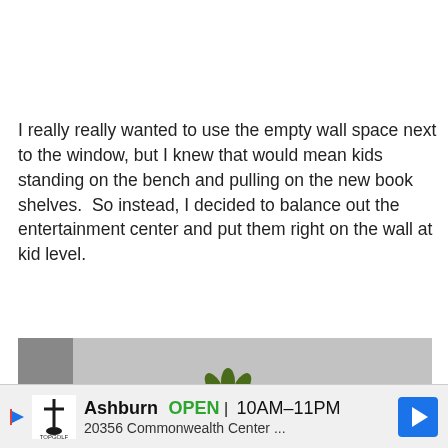I really really wanted to use the empty wall space next to the window, but I knew that would mean kids standing on the bench and pulling on the new book shelves.  So instead, I decided to balance out the entertainment center and put them right on the wall at kid level.
[Figure (photo): Photo of a white entertainment center/bookshelf unit with the word TOYS displayed on the wall above it in large dark green letters, with a decorative sunflower replacing the letter O. The shelves contain various storage items including white boxes, a blue container, and a floral-patterned holder.]
Ashburn  OPEN | 10AM–11PM  20356 Commonwealth Center ...